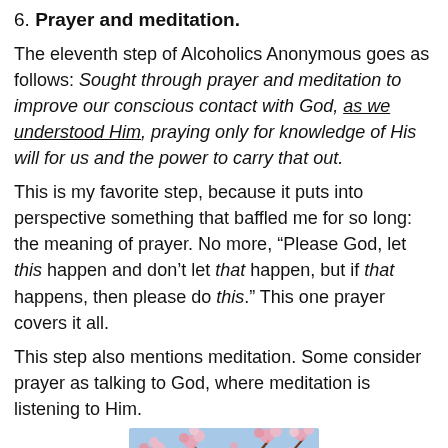6. Prayer and meditation.
The eleventh step of Alcoholics Anonymous goes as follows: Sought through prayer and meditation to improve our conscious contact with God, as we understood Him, praying only for knowledge of His will for us and the power to carry that out.
This is my favorite step, because it puts into perspective something that baffled me for so long: the meaning of prayer. No more, “Please God, let this happen and don’t let that happen, but if that happens, then please do this.” This one prayer covers it all.
This step also mentions meditation. Some consider prayer as talking to God, where meditation is listening to Him.
[Figure (photo): Pink cherry blossoms or similar flowering tree branches against a blue sky background.]